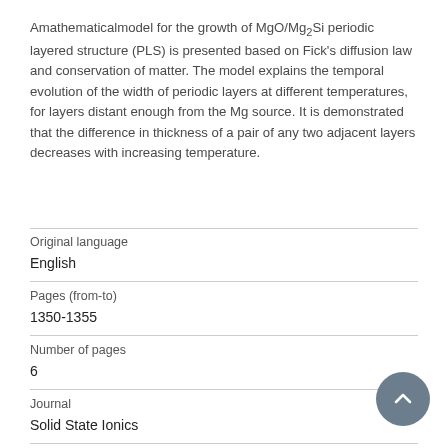Amathematicalmodel for the growth of MgO/Mg2Si periodic layered structure (PLS) is presented based on Fick's diffusion law and conservation of matter. The model explains the temporal evolution of the width of periodic layers at different temperatures, for layers distant enough from the Mg source. It is demonstrated that the difference in thickness of a pair of any two adjacent layers decreases with increasing temperature.
| Field | Value |
| --- | --- |
| Original language | English |
| Pages (from-to) | 1350-1355 |
| Number of pages | 6 |
| Journal | Solid State Ionics |
| Volume |  |